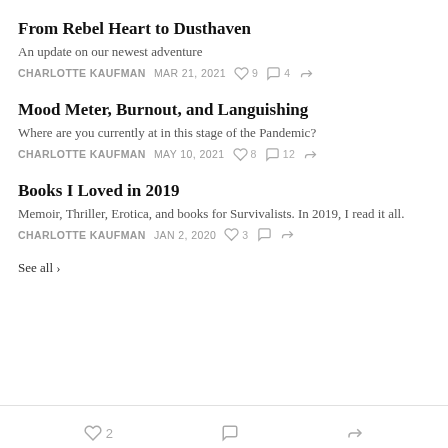From Rebel Heart to Dusthaven
An update on our newest adventure
CHARLOTTE KAUFMAN  MAR 21, 2021  ♡ 9  ○ 4  ↰
Mood Meter, Burnout, and Languishing
Where are you currently at in this stage of the Pandemic?
CHARLOTTE KAUFMAN  MAY 10, 2021  ♡ 8  ○ 12  ↰
Books I Loved in 2019
Memoir, Thriller, Erotica, and books for Survivalists. In 2019, I read it all.
CHARLOTTE KAUFMAN  JAN 2, 2020  ♡ 3  ○  ↰
See all ›
♡ 2  ○  ↰